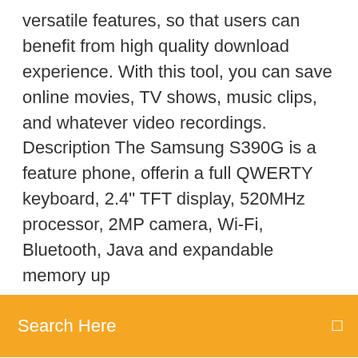versatile features, so that users can benefit from high quality download experience. With this tool, you can save online movies, TV shows, music clips, and whatever video recordings. Description The Samsung S390G is a feature phone, offerin a full QWERTY keyboard, 2.4" TFT display, 520MHz processor, 2MP camera, Wi-Fi, Bluetooth, Java and expandable memory up
[Figure (screenshot): Orange search bar with text 'Search Here' and a search icon on the right]
Absolutely clean and safe! See full list on mspoweruser.com تحميل جميع رومات Samsung كما اننا الرسمية لجميع الموبيلات , نوفر لكم روابط تحميل فلاشات Samsung ( فلاشات أصلية ) الرسمية مرفوعه علي ميديا فاير وجوجل درايف برابط مباشر
Join Samsung Developers and get access to the latest tools and SDKs for Samsung mobile devices. Learn how to build new experiences for millions of mobile device users worldwide. (Requires a Samsung Account to join) Learn about the latest developer opportunities at Samsung with ROWLA bi-weekly